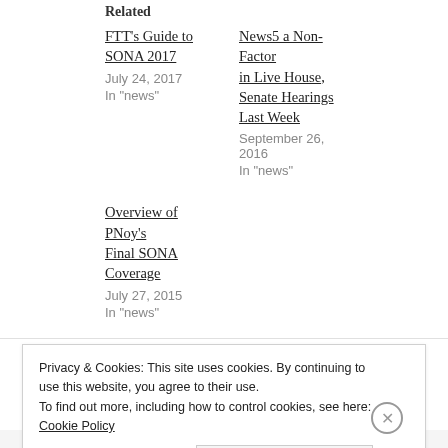Related
FTT's Guide to SONA 2017
July 24, 2017
In "news"
News5 a Non-Factor in Live House, Senate Hearings Last Week
September 26, 2016
In "news"
Overview of PNoy's Final SONA Coverage
July 27, 2015
In "news"
Privacy & Cookies: This site uses cookies. By continuing to use this website, you agree to their use.
To find out more, including how to control cookies, see here: Cookie Policy
Close and accept